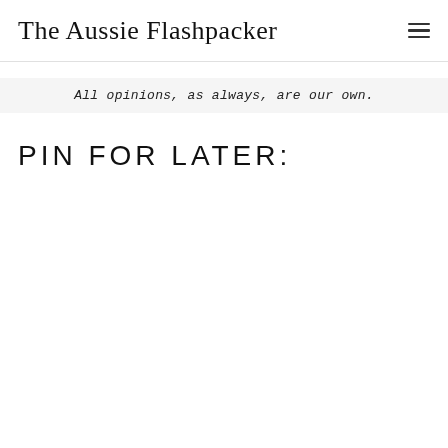The Aussie Flashpacker
All opinions, as always, are our own.
PIN FOR LATER: